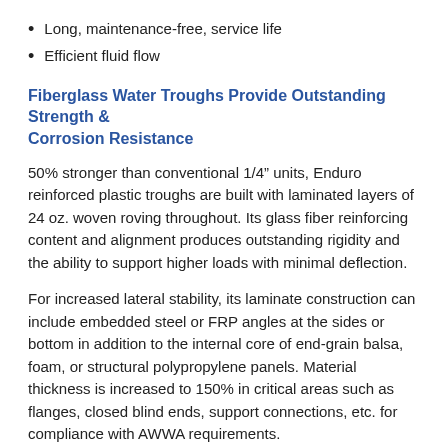Long, maintenance-free, service life
Efficient fluid flow
Fiberglass Water Troughs Provide Outstanding Strength & Corrosion Resistance
50% stronger than conventional 1/4” units, Enduro reinforced plastic troughs are built with laminated layers of 24 oz. woven roving throughout. Its glass fiber reinforcing content and alignment produces outstanding rigidity and the ability to support higher loads with minimal deflection.
For increased lateral stability, its laminate construction can include embedded steel or FRP angles at the sides or bottom in addition to the internal core of end-grain balsa, foam, or structural polypropylene panels. Material thickness is increased to 150% in critical areas such as flanges, closed blind ends, support connections, etc. for compliance with AWWA requirements.
Enduro fiberglass troughs are designed with premium, corrosion-resistant and UV protected resins, woven roving